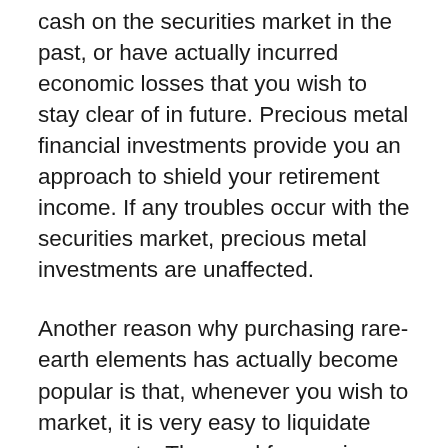cash on the securities market in the past, or have actually incurred economic losses that you wish to stay clear of in future. Precious metal financial investments provide you an approach to shield your retirement income. If any troubles occur with the securities market, precious metal investments are unaffected.
Another reason why purchasing rare-earth elements has actually become popular is that, whenever you wish to market, it is very easy to liquidate your assets. The need for precious metals continues to be high, so there is a plentiful supply of purchasers. In contrast, if you wished to offer an additional kind of possession, like property for instance, this may be harder to do swiftly.